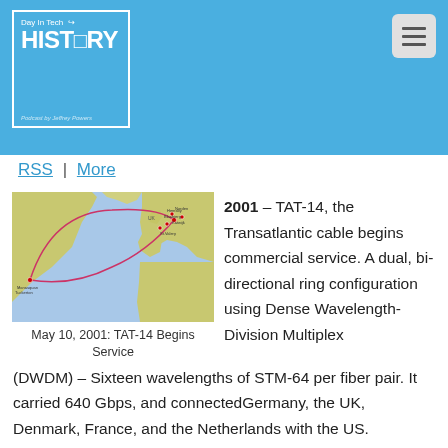Day In Tech HISTORY — Podcast by Jeffrey Powers
RSS | More
[Figure (map): Map showing TAT-14 transatlantic cable route connecting the US to Germany, UK, Denmark, France, and the Netherlands, with a dual ring path drawn in red/pink across the Atlantic Ocean.]
May 10, 2001: TAT-14 Begins Service
2001 – TAT-14, the Transatlantic cable begins commercial service. A dual, bi-directional ring configuration using Dense Wavelength-Division Multiplex (DWDM) – Sixteen wavelengths of STM-64 per fiber pair. It carried 640 Gbps, and connectedGermany, the UK, Denmark, France, and the Netherlands with the US.